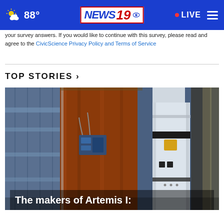88° NEWS 19 LIVE
your survey answers. If you would like to continue with this survey, please read and agree to the CivicScience Privacy Policy and Terms of Service
TOP STORIES ›
[Figure (photo): Photo of the Artemis I rocket, showing a close-up of the Space Launch System with orange fuel tank and white solid rocket booster in a vehicle assembly building or launch facility]
The makers of Artemis I: